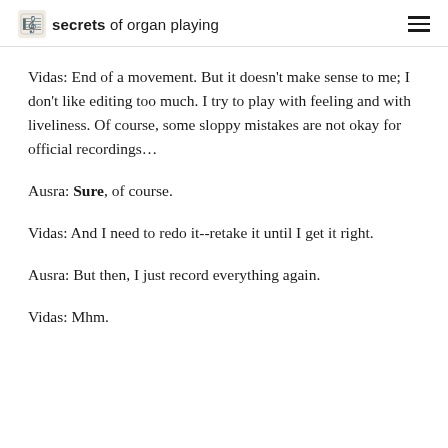secrets of organ playing
Vidas: End of a movement. But it doesn’t make sense to me; I don’t like editing too much. I try to play with feeling and with liveliness. Of course, some sloppy mistakes are not okay for official recordings…
Ausra: Sure, of course.
Vidas: And I need to redo it--retake it until I get it right.
Ausra: But then, I just record everything again.
Vidas: Mhm.